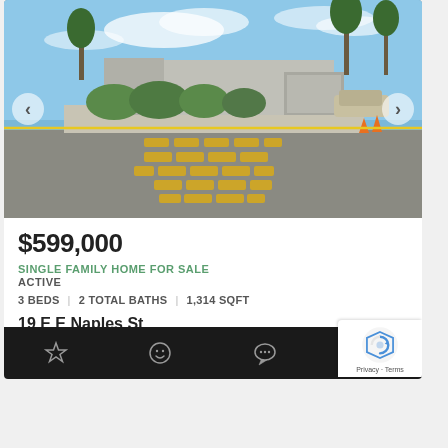[Figure (photo): Street-level photo of a single-family home in Chula Vista, CA. The foreground shows a road with yellow crosswalk markings. The home has a garage, shrubs/hedges along the front, and palm/eucalyptus trees in the background under a blue sky.]
$599,000
SINGLE FAMILY HOME FOR SALE
ACTIVE
3 BEDS | 2 TOTAL BATHS | 1,314 SQFT
19 E E Naples St
Chula Vista, CA 91911
Chula Vista Subdivision